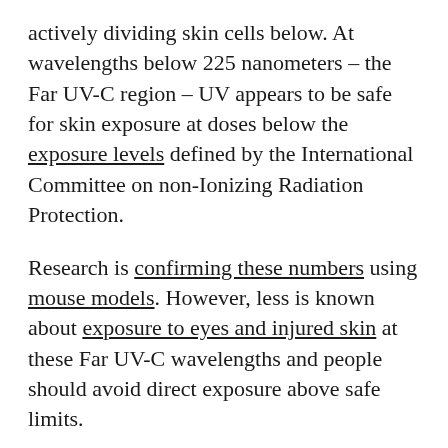actively dividing skin cells below. At wavelengths below 225 nanometers – the Far UV-C region – UV appears to be safe for skin exposure at doses below the exposure levels defined by the International Committee on non-Ionizing Radiation Protection.
Research is confirming these numbers using mouse models. However, less is known about exposure to eyes and injured skin at these Far UV-C wavelengths and people should avoid direct exposure above safe limits.